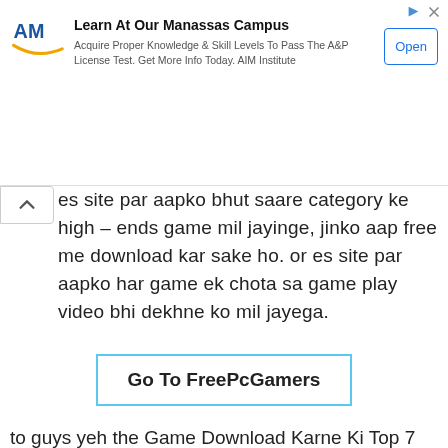[Figure (other): Advertisement banner: Learn At Our Manassas Campus - AIM Institute logo, Open button]
es site par aapko bhut saare category ke high – ends game mil jayinge, jinko aap free me download kar sake ho. or es site par aapko har game ek chota sa game play video bhi dekhne ko mil jayega.
Go To FreePcGamers
to guys yeh the Game Download Karne Ki Top 7 Free Websites. i hope aapko yeh list jarror pasand aayi hogi. or ab aapko pata chal gya hoga ki without torrent apne windows pc me game download kaise kare.